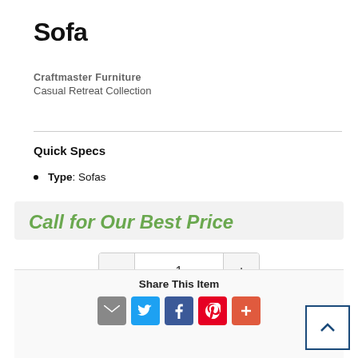Sofa
Craftmaster Furniture
Casual Retreat Collection
Quick Specs
Type: Sofas
Call for Our Best Price
Request Information
Share This Item